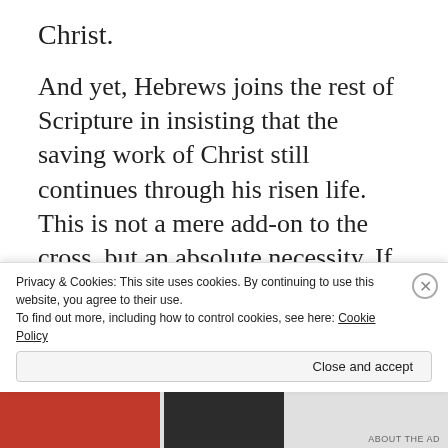Christ.
And yet, Hebrews joins the rest of Scripture in insisting that the saving work of Christ still continues through his risen life. This is not a mere add-on to the cross, but an absolute necessity. If we did not have the risen Jesus as our high priest, our mediator, our representative, we would have no hope of salvation. Why is Jesus “able to save to the uttermost those who draw near to God through him”? Only because “he always lives to make
Privacy & Cookies: This site uses cookies. By continuing to use this website, you agree to their use.
To find out more, including how to control cookies, see here: Cookie Policy
Close and accept